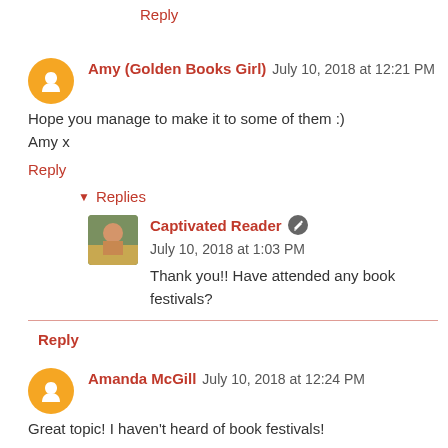Reply
Amy (Golden Books Girl) July 10, 2018 at 12:21 PM
Hope you manage to make it to some of them :)
Amy x
Reply
▼ Replies
Captivated Reader July 10, 2018 at 1:03 PM
Thank you!! Have attended any book festivals?
Reply
Amanda McGill July 10, 2018 at 12:24 PM
Great topic! I haven't heard of book festivals!
Reply